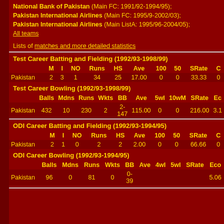National Bank of Pakistan (Main FC: 1991/92-1994/95);
Pakistan International Airlines (Main FC: 1995/9-2002/03);
Pakistan International Airlines (Main ListA: 1995/96-2004/05);
All teams
Lists of matches and more detailed statistics
Test Career Batting and Fielding (1992/93-1998/99)
|  | M | I | NO | Runs | HS | Ave | 100 | 50 | SRate | C |
| --- | --- | --- | --- | --- | --- | --- | --- | --- | --- | --- |
| Pakistan | 2 | 3 | 1 | 34 | 25 | 17.00 | 0 | 0 | 33.33 | 0 |
Test Career Bowling (1992/93-1998/99)
|  | Balls | Mdns | Runs | Wkts | BB | Ave | 5wI | 10wM | SRate | Ec |
| --- | --- | --- | --- | --- | --- | --- | --- | --- | --- | --- |
| Pakistan | 432 | 10 | 230 | 2 | 2-147 | 115.00 | 0 | 0 | 216.00 | 3.1 |
ODI Career Batting and Fielding (1992/93-1994/95)
|  | M | I | NO | Runs | HS | Ave | 100 | 50 | SRate | C |
| --- | --- | --- | --- | --- | --- | --- | --- | --- | --- | --- |
| Pakistan | 2 | 1 | 0 | 2 | 2 | 2.00 | 0 | 0 | 66.66 | 0 |
ODI Career Bowling (1992/93-1994/95)
|  | Balls | Mdns | Runs | Wkts | BB | Ave | 4wI | 5wI | SRate | Eco |
| --- | --- | --- | --- | --- | --- | --- | --- | --- | --- | --- |
| Pakistan | 96 | 0 | 81 | 0 | 0-39 |  |  |  |  | 5.06 |